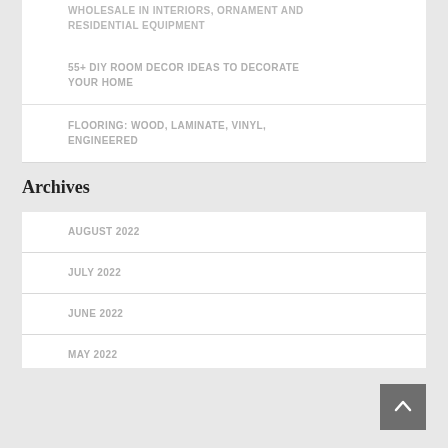WHOLESALE IN INTERIORS, ORNAMENT AND RESIDENTIAL EQUIPMENT
55+ DIY ROOM DECOR IDEAS TO DECORATE YOUR HOME
FLOORING: WOOD, LAMINATE, VINYL, ENGINEERED
Archives
AUGUST 2022
JULY 2022
JUNE 2022
MAY 2022